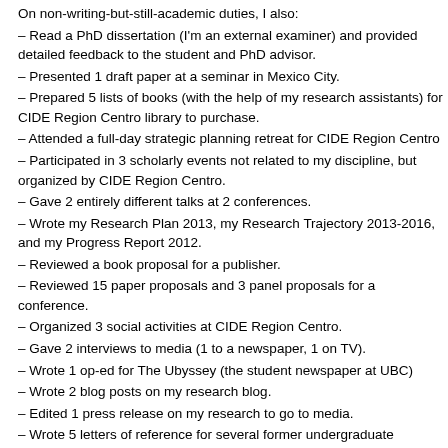– Read a PhD dissertation (I'm an external examiner) and provided detailed feedback to the student and PhD advisor.
– Presented 1 draft paper at a seminar in Mexico City.
– Prepared 5 lists of books (with the help of my research assistants) for CIDE Region Centro library to purchase.
– Attended a full-day strategic planning retreat for CIDE Region Centro
– Participated in 3 scholarly events not related to my discipline, but organized by CIDE Region Centro.
– Gave 2 entirely different talks at 2 conferences.
– Wrote my Research Plan 2013, my Research Trajectory 2013-2016, and my Progress Report 2012.
– Reviewed a book proposal for a publisher.
– Reviewed 15 paper proposals and 3 panel proposals for a conference.
– Organized 3 social activities at CIDE Region Centro.
– Gave 2 interviews to media (1 to a newspaper, 1 on TV).
– Wrote 1 op-ed for The Ubyssey (the student newspaper at UBC)
– Wrote 2 blog posts on my research blog.
– Edited 1 press release on my research to go to media.
– Wrote 5 letters of reference for several former undergraduate students.
Overall, against what people might think (that November is a slow month), mine was hectic. I did learn a lot from trying to do AcWriMo the right way, so here are some tips for myself and for anyone who wants to do AcWriMo.
1) Write EVERY SINGLE DAY. This is something that had always scared me for